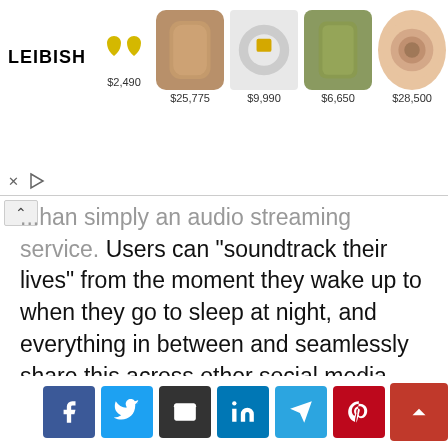[Figure (screenshot): LEIBISH jewelry advertisement banner showing gold heart earrings, brown diamond, yellow gold ring, green gemstone, and rose gold brooch with prices $2,490, $25,775, $9,990, $6,650, $28,500]
...han simply an audio streaming service. Users can "soundtrack their lives" from the moment they wake up to when they go to sleep at night, and everything in between and seamlessly share this across other social media apps like Facebook and Instagram. The platform provides an opportunity to connect through a shared love of music, providing comfort to many over the isolation of the past months." says Phiona Okumu, Head of Music, Sub Saharan Africa.
[Figure (screenshot): Social media share buttons: Facebook, Twitter, Email, LinkedIn, Telegram, Pinterest, and a scroll-to-top button]